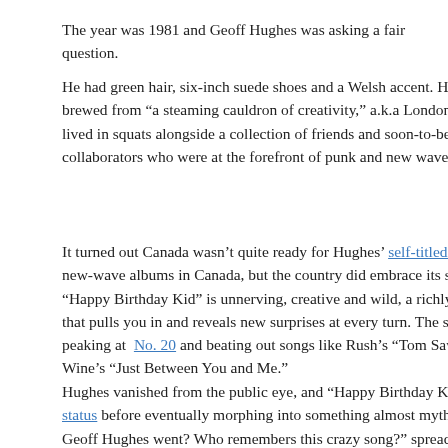The year was 1981 and Geoff Hughes was asking a fair question.
He had green hair, six-inch suede shoes and a Welsh accent. His brewed from “a steaming cauldron of creativity,” a.k.a London, lived in squats alongside a collection of friends and soon-to-be- collaborators who were at the forefront of punk and new wave.
It turned out Canada wasn’t quite ready for Hughes’ self-titled d new-wave albums in Canada, but the country did embrace its str “Happy Birthday Kid” is unnerving, creative and wild, a richly that pulls you in and reveals new surprises at every turn. The so peaking at No. 20 and beating out songs like Rush’s “Tom Saw Wine’s “Just Between You and Me.”
Hughes vanished from the public eye, and “Happy Birthday Kid status before eventually morphing into something almost mythi Geoff Hughes went? Who remembers this crazy song?” spread dream on message boards and social media, ultimately becoming